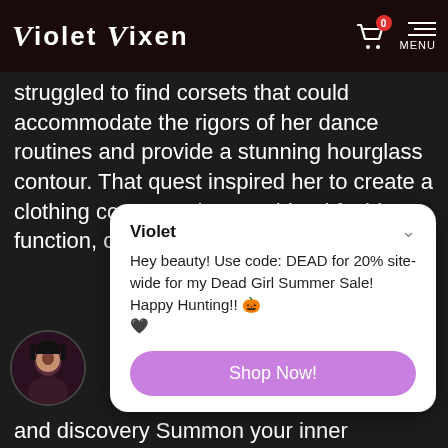Violet Vixen
struggled to find corsets that could accommodate the rigors of her dance routines and provide a stunning hourglass contour. That quest inspired her to create a clothing company that combined fashion, function, comfort and attitude.
Violet
Hey beauty! Use code: DEAD for 20% site-wide for my Dead Girl Summer Sale! Happy Hunting!! 🎃🖤
Shop Now!
and discovery Summon your inner